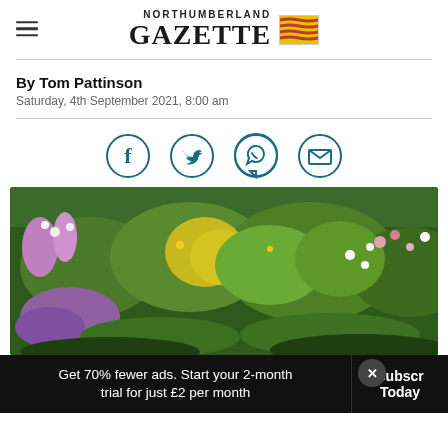NORTHUMBERLAND GAZETTE
By Tom Pattinson
Saturday, 4th September 2021, 8:00 am
[Figure (infographic): Social media share icons in circles: Facebook, Twitter, WhatsApp, Email]
[Figure (photo): Garden scene with colourful flowers, shrubs and hedges in summer bloom]
Get 70% fewer ads. Start your 2-month trial for just £2 per month
Subscribe Today